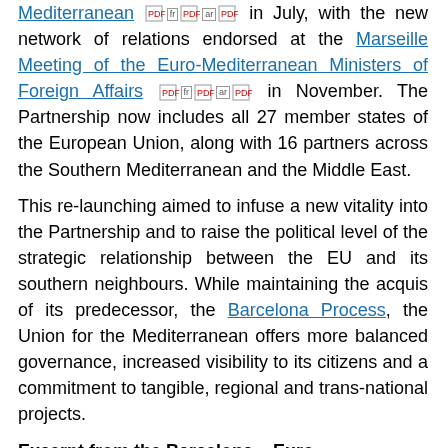Mediterranean [pdf icons] in July, with the new network of relations endorsed at the Marseille Meeting of the Euro-Mediterranean Ministers of Foreign Affairs [pdf icons] in November. The Partnership now includes all 27 member states of the European Union, along with 16 partners across the Southern Mediterranean and the Middle East.
This re-launching aimed to infuse a new vitality into the Partnership and to raise the political level of the strategic relationship between the EU and its southern neighbours. While maintaining the acquis of its predecessor, the Barcelona Process, the Union for the Mediterranean offers more balanced governance, increased visibility to its citizens and a commitment to tangible, regional and trans-national projects.
Excerpt from the Barcelona – Euro